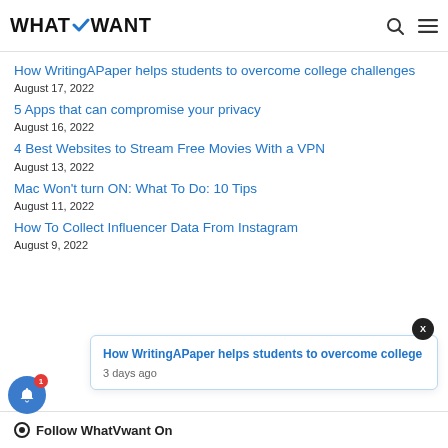WhatVwant
How WritingAPaper helps students to overcome college challenges
August 17, 2022
5 Apps that can compromise your privacy
August 16, 2022
4 Best Websites to Stream Free Movies With a VPN
August 13, 2022
Mac Won't turn ON: What To Do: 10 Tips
August 11, 2022
How To Collect Influencer Data From Instagram
August 9, 2022
How WritingAPaper helps students to overcome college
3 days ago
Follow WhatVwant On